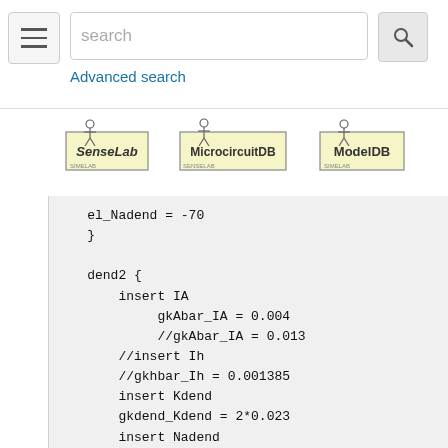search [search button] Advanced search
[Figure (logo): SenseLab logo with stick figure scientist]
[Figure (logo): MicrocircuitDB logo with stick figure scientist]
[Figure (logo): ModelDB logo with stick figure scientist]
el_Nadend = -70
    }

    dend2 {
        insert IA
             gkAbar_IA = 0.004
             //gkAbar_IA = 0.013
        //insert Ih
        //gkhbar_Ih = 0.001385
        insert Kdend
        gkdend_Kdend = 2*0.023
        insert Nadend
        gnadend_Nadend = 2*0.0117
        gl_Nadend = 1/Rm
        el_Nadend = -70
    }

    axon {
        insert Kaxon